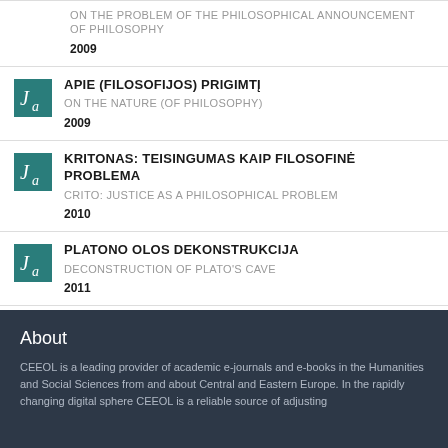ON THE PROBLEM OF THE PHILOSOPHICAL ANNOUNCEMENT OF PHILOSOPHY | 2009
APIE (FILOSOFIJOS) PRIGIMTĮ | ON THE NATURE (OF PHILOSOPHY) | 2009
KRITONAS: TEISINGUMAS KAIP FILOSOFINĖ PROBLEMA | CRITO: JUSTICE AS A PHILOSOPHICAL PROBLEM | 2010
PLATONO OLOS DEKONSTRUKCIJA | DECONSTRUCTION OF PLATO'S CAVE | 2011
About
CEEOL is a leading provider of academic e-journals and e-books in the Humanities and Social Sciences from and about Central and Eastern Europe. In the rapidly changing digital sphere CEEOL is a reliable source of adjusting